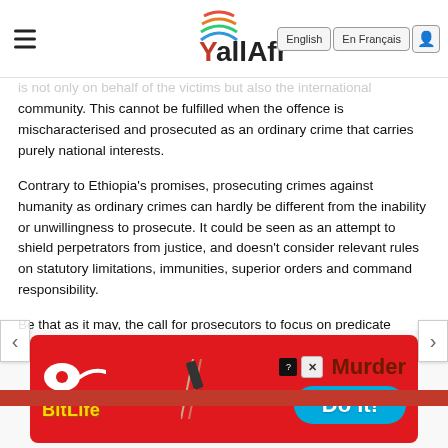allAfrica — English | En Français
is not only on behalf of the victims but also the international community. This cannot be fulfilled when the offence is mischaracterised and prosecuted as an ordinary crime that carries purely national interests.
Contrary to Ethiopia's promises, prosecuting crimes against humanity as ordinary crimes can hardly be different from the inability or unwillingness to prosecute. It could be seen as an attempt to shield perpetrators from justice, and doesn't consider relevant rules on statutory limitations, immunities, superior orders and command responsibility.
Be that as it may, the call for prosecutors to focus on predicate offences is futile as several of them are unknown in Ethiopian law. Apartheid, torture, enforced disappearance, internal displacement, deportation, extermination and persecution are not criminalised as discrete offences.
[Figure (screenshot): BitLife advertisement banner with red background, yellow BitLife logo, sperm icon, and 'Murder Do it!' text with blue pill button]